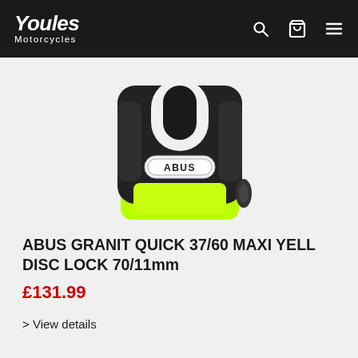Youles Motorcycles
[Figure (photo): ABUS Granit Quick 37/60 Maxi disc lock product photo — black body with neon yellow/green base, U-shackle slot visible at top, ABUS oval badge on front]
ABUS GRANIT QUICK 37/60 MAXI YELL DISC LOCK 70/11mm
£131.99
> View details